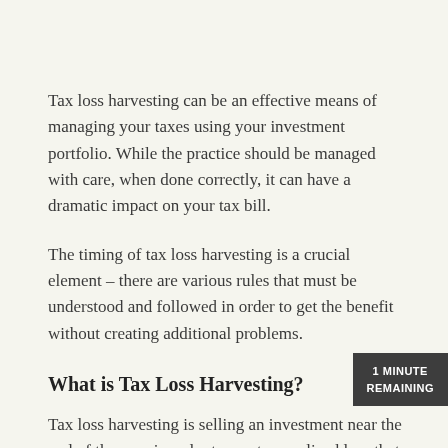Tax loss harvesting can be an effective means of managing your taxes using your investment portfolio. While the practice should be managed with care, when done correctly, it can have a dramatic impact on your tax bill.
The timing of tax loss harvesting is a crucial element – there are various rules that must be understood and followed in order to get the benefit without creating additional problems.
What is Tax Loss Harvesting?
Tax loss harvesting is selling an investment near the end of the year in order to create a realized loss that can be used to offset any realized gains or ordinary income on your taxes. When you purchase an investment, such as a stock, and the price of that